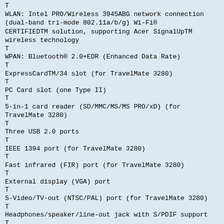T
WLAN: Intel PRO/Wireless 3945ABG network connection (dual-band tri-mode 802.11a/b/g) Wi-Fi® CERTIFIEDTM solution, supporting Acer SignalUpTM wireless technology
T
WPAN: Bluetooth® 2.0+EDR (Enhanced Data Rate)
T
ExpressCardTM/34 slot (for TravelMate 3280)
T
PC Card slot (one Type II)
T
5-in-1 card reader (SD/MMC/MS/MS PRO/xD) (for TravelMate 3280)
T
Three USB 2.0 ports
T
IEEE 1394 port (for TravelMate 3280)
T
Fast infrared (FIR) port (for TravelMate 3280)
T
External display (VGA) port
T
S-Video/TV-out (NTSC/PAL) port (for TravelMate 3280)
T
Headphones/speaker/line-out jack with S/PDIF support
T
Microphone-in jack
T
Line-in jack
T
Ethernet (RJ-45) port
T